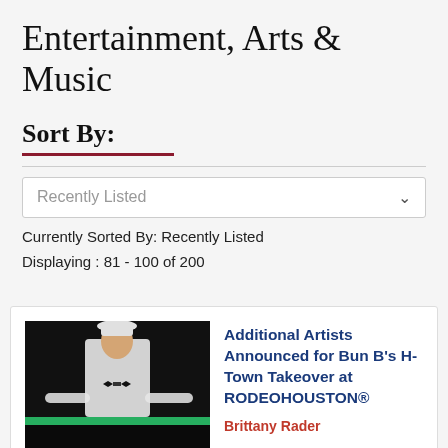Entertainment, Arts & Music
Sort By:
Recently Listed
Currently Sorted By: Recently Listed
Displaying : 81 - 100 of 200
[Figure (illustration): Red heart icon with a small green plus symbol overlay]
[Figure (photo): Person in a white suit and black bow tie on a dark background with a green horizontal stripe]
Additional Artists Announced for Bun B's H-Town Takeover at RODEOHOUSTON®
Brittany Rader